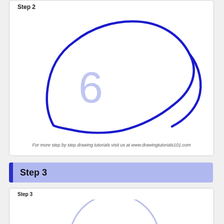Step 2
[Figure (illustration): Drawing tutorial step 2: a dark blue curved teardrop/egg shape outline with a light blue number 6 inside it, representing a bird body drawing step]
For more step by step drawing tutorials visit us at www.drawingtutorials101.com
Step 3
Step 3
[Figure (illustration): Drawing tutorial step 3: partial view of a light blue semicircle arc at the bottom of the card]